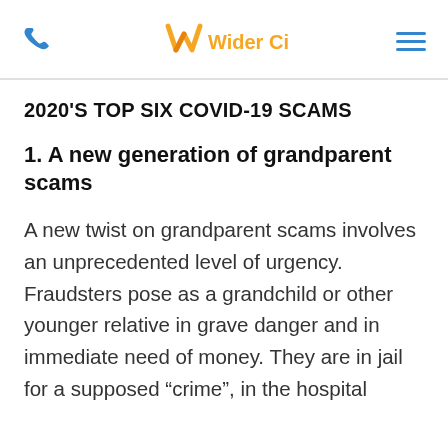Wider Circle
2020'S TOP SIX COVID-19 SCAMS
1. A new generation of grandparent scams
A new twist on grandparent scams involves an unprecedented level of urgency. Fraudsters pose as a grandchild or other younger relative in grave danger and in immediate need of money. They are in jail for a supposed “crime”, in the hospital